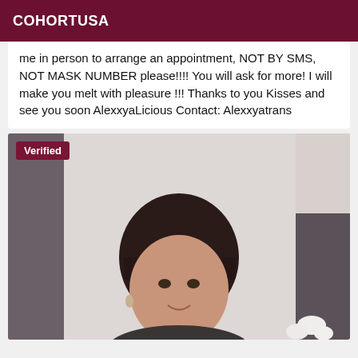COHORTUSA
me in person to arrange an appointment, NOT BY SMS, NOT MASK NUMBER please!!!! You will ask for more! I will make you melt with pleasure !!! Thanks to you Kisses and see you soon AlexxyaLicious Contact: Alexxyatrans
[Figure (photo): Photo of a woman with dark hair and bangs, smiling, with a 'Verified' badge overlay in the top-left corner. The background shows curtains and white flowers.]